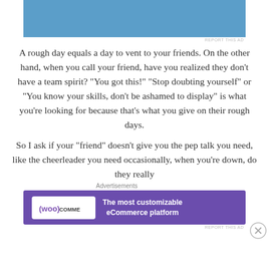[Figure (other): Blue advertisement banner at top]
REPORT THIS AD
A rough day equals a day to vent to your friends. On the other hand, when you call your friend, have you realized they don't have a team spirit? “You got this!” “Stop doubting yourself” or “You know your skills, don’t be ashamed to display” is what you’re looking for because that’s what you give on their rough days.
So I ask if your “friend” doesn’t give you the pep talk you need, like the cheerleader you need occasionally, when you’re down, do they really
Advertisements
[Figure (other): WooCommerce advertisement banner: The most customizable eCommerce platform]
REPORT THIS AD